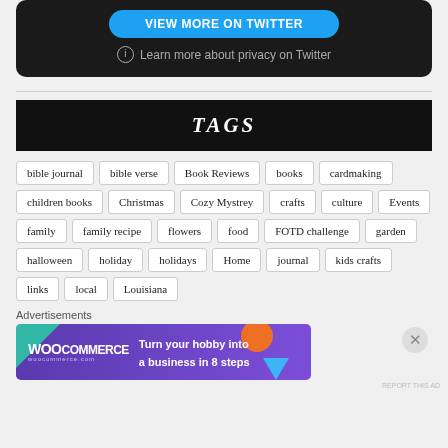[Figure (screenshot): Twitter embed box with blue 'View more on Twitter' button and privacy link on dark background]
Learn more about privacy on Twitter
TAGS
bible journal
bible verse
Book Reviews
books
cardmaking
children books
Christmas
Cozy Mystrey
crafts
culture
Events
family
family recipe
flowers
food
FOTD challenge
garden
halloween
holiday
holidays
Home
journal
kids crafts
links
local
Louisiana
Advertisements
[Figure (screenshot): WooCommerce advertisement banner: 'Turn your hobby into a business in 8 steps' on purple background with teal, orange, and blue decorative shapes]